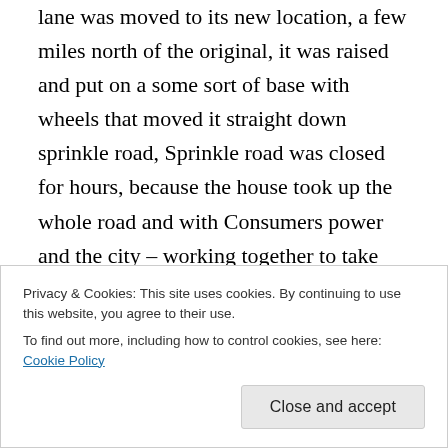lane was moved to its new location, a few miles north of the original, it was raised and put on a some sort of base with wheels that moved it straight down sprinkle road, Sprinkle road was closed for hours, because the house took up the whole road and with Consumers power and the city – working together to take down every red light and power line that crossed the road. A lot of people watch as it was moved slowly to its new land, and others were frustrated because they couldn't get down sprinkle and had to go
Privacy & Cookies: This site uses cookies. By continuing to use this website, you agree to their use. To find out more, including how to control cookies, see here: Cookie Policy